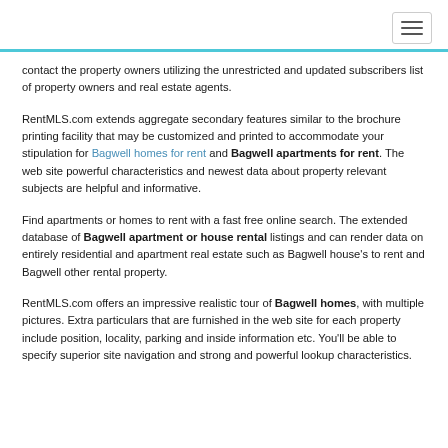contact the property owners utilizing the unrestricted and updated subscribers list of property owners and real estate agents.
RentMLS.com extends aggregate secondary features similar to the brochure printing facility that may be customized and printed to accommodate your stipulation for Bagwell homes for rent and Bagwell apartments for rent. The web site powerful characteristics and newest data about property relevant subjects are helpful and informative.
Find apartments or homes to rent with a fast free online search. The extended database of Bagwell apartment or house rental listings and can render data on entirely residential and apartment real estate such as Bagwell house's to rent and Bagwell other rental property.
RentMLS.com offers an impressive realistic tour of Bagwell homes, with multiple pictures. Extra particulars that are furnished in the web site for each property include position, locality, parking and inside information etc. You'll be able to specify superior site navigation and strong and powerful lookup characteristics.